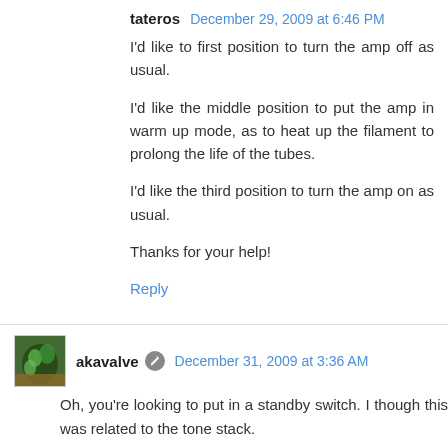tateros  December 29, 2009 at 6:46 PM
I'd like to first position to turn the amp off as usual.
I'd like the middle position to put the amp in warm up mode, as to heat up the filament to prolong the life of the tubes.
I'd like the third position to turn the amp on as usual.
Thanks for your help!
Reply
akavalve  December 31, 2009 at 3:36 AM
Oh, you're looking to put in a standby switch. I though this was related to the tone stack.
If you want to do this you'll want a two pole "progressive switch". Connect the heaters to the first position and both sides of the HT secondary to the second position.
A good number of sources will tell you that "cathode